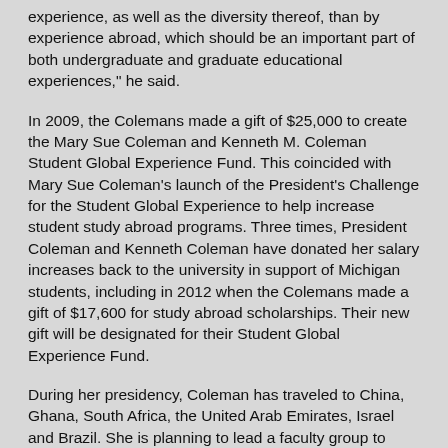experience, as well as the diversity thereof, than by experience abroad, which should be an important part of both undergraduate and graduate educational experiences," he said.
In 2009, the Colemans made a gift of $25,000 to create the Mary Sue Coleman and Kenneth M. Coleman Student Global Experience Fund. This coincided with Mary Sue Coleman's launch of the President's Challenge for the Student Global Experience to help increase student study abroad programs. Three times, President Coleman and Kenneth Coleman have donated her salary increases back to the university in support of Michigan students, including in 2012 when the Colemans made a gift of $17,600 for study abroad scholarships. Their new gift will be designated for their Student Global Experience Fund.
During her presidency, Coleman has traveled to China, Ghana, South Africa, the United Arab Emirates, Israel and Brazil. She is planning to lead a faculty group to India in November. The university has developed partnerships with universities throughout those countries that have resulted in study abroad opportunities, joint research projects and academic programs. From fall 2011 through 2012, more than 2,240 U-M students studied or interned abroad for academic credit. In addition to the newest gift, the Colemans' previous